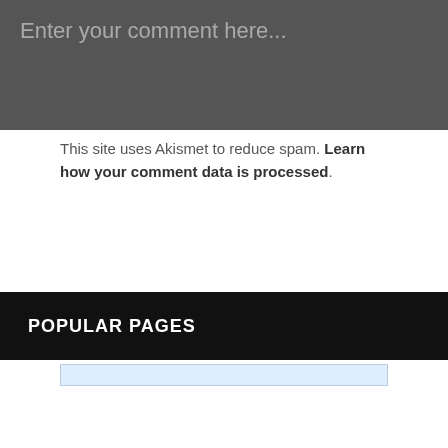[Figure (screenshot): Comment text input box with dark gray background and placeholder text 'Enter your comment here...']
This site uses Akismet to reduce spam. Learn how your comment data is processed.
POPULAR PAGES
[Figure (screenshot): Search bar with light blue background at the bottom of the popular pages section]